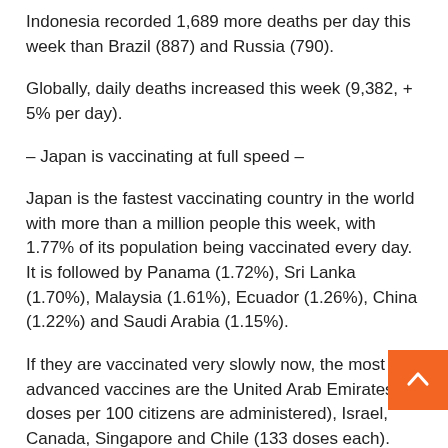Indonesia recorded 1,689 more deaths per day this week than Brazil (887) and Russia (790).
Globally, daily deaths increased this week (9,382, + 5% per day).
– Japan is vaccinating at full speed –
Japan is the fastest vaccinating country in the world with more than a million people this week, with 1.77% of its population being vaccinated every day. It is followed by Panama (1.72%), Sri Lanka (1.70%), Malaysia (1.61%), Ecuador (1.26%), China (1.22%) and Saudi Arabia (1.15%).
If they are vaccinated very slowly now, the most advanced vaccines are the United Arab Emirates ( doses per 100 citizens are administered), Israel, Canada, Singapore and Chile (133 doses each).